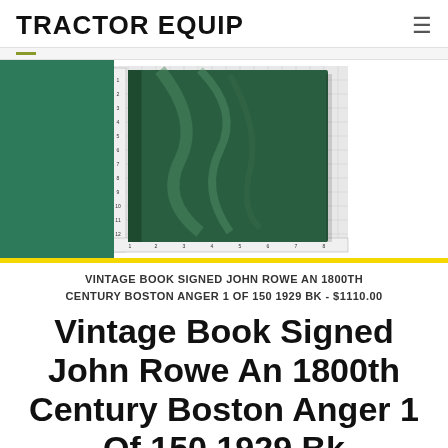TRACTOR EQUIP
[Figure (photo): Photo of a dark green hardcover vintage book placed on a white grid/graph paper with a ruler, next to a green surface background.]
VINTAGE BOOK SIGNED JOHN ROWE AN 1800TH CENTURY BOSTON ANGER 1 OF 150 1929 BK - $1110.00
Vintage Book Signed John Rowe An 1800th Century Boston Anger 1 Of 150 1929 Bk